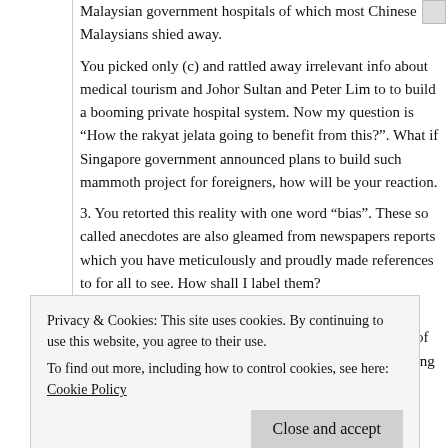Malaysian government hospitals of which most Chinese Malaysians shied away.
You picked only (c) and rattled away irrelevant info about medical tourism and Johor Sultan and Peter Lim to to build a booming private hospital system. Now my question is “How the rakyat jelata going to benefit from this?”. What if Singapore government announced plans to build such mammoth project for foreigners, how will be your reaction.
3. You retorted this reality with one word “bias”. These so called anecdotes are also gleamed from newspapers reports which you have meticulously and proudly made references to for all to see. How shall I label them?
4. If that is the situation in terms of purchasing power as opposed to numerals, didn’t I say that the higher values of HDB flats would offset that? Many people in neighbouring countries have nothing to
Privacy & Cookies: This site uses cookies. By continuing to use this website, you agree to their use.
To find out more, including how to control cookies, see here: Cookie Policy
Close and accept
if its because of surviving retirement, there are other solutions